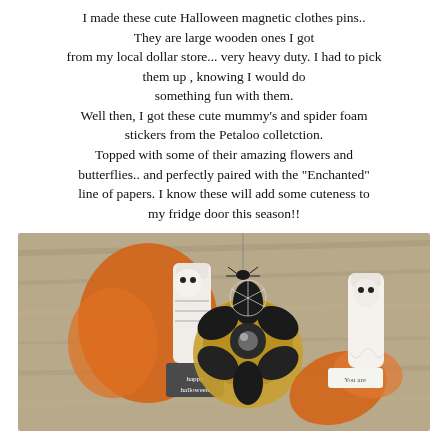I made these cute Halloween magnetic clothes pins.. They are large wooden ones I got from my local dollar store... very heavy duty. I had to pick them up , knowing I would do something fun with them. Well then, I got these cute mummy's and spider foam stickers from the Petaloo colletction. Topped with some of their amazing flowers and butterflies.. and perfectly paired with the "Enchanted" line of papers. I know these will add some cuteness to my fridge door this season!!
[Figure (photo): Photo of Halloween magnetic clothespins decorated with mummy and ghost foam stickers, black flowers, and orange leaves on a wooden surface. Tags read 'happy halloween' and 'You are'.]